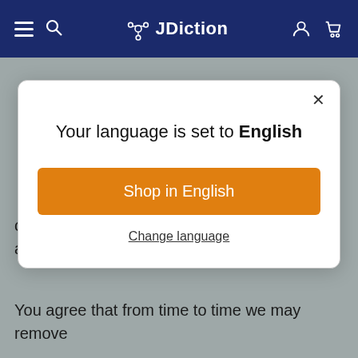JDiction
obtained from the use of the service will be accurate or reliable.
You agree that from time to time we may remove
[Figure (screenshot): Modal dialog with title 'Your language is set to English', an orange 'Shop in English' button, and a 'Change language' link. Close (×) button in top-right corner.]